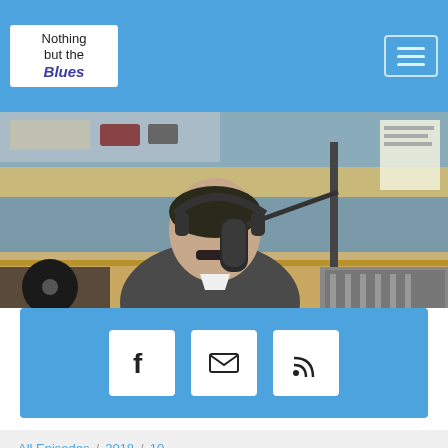Nothing but the Blues — navigation logo and hamburger menu
[Figure (photo): Radio host sitting at a broadcast desk wearing headphones and speaking into a microphone in a recording studio]
[Figure (infographic): Blue social bar with three icon buttons: Facebook (f), Email (envelope), RSS feed]
All Episodes / 2018 / 10
Nothing But The Blues #528
NOTHING BUT THE BLUES
Nothing But The Blues #528
00:00:00